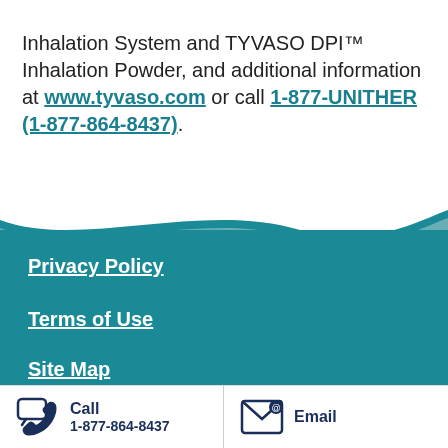Inhalation System and TYVASO DPI™ Inhalation Powder, and additional information at www.tyvaso.com or call 1-877-UNITHER (1-877-864-8437).
Privacy Policy
Terms of Use
Site Map
All other brands are trademarks of their respective owners. The makers of these brands are not affiliated
Call 1-877-864-8437  Email